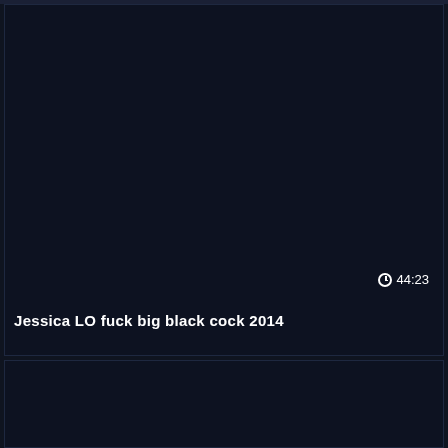[Figure (screenshot): Dark navy video thumbnail card with duration badge showing clock icon and 44:23]
Jessica LO fuck big black cock 2014
[Figure (screenshot): Second dark navy video thumbnail card, partially visible at bottom]
↑ scroll-to-top button